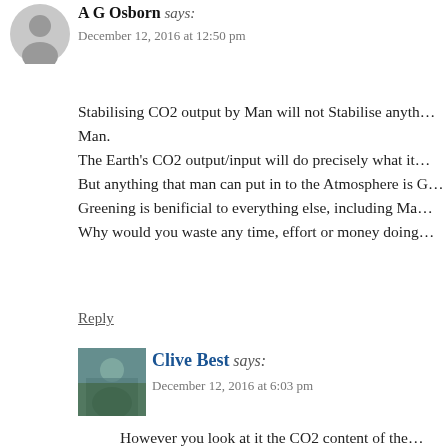A G Osborn says:
December 12, 2016 at 12:50 pm
Stabilising CO2 output by Man will not Stabilise anything other than CO2 produced by Man.
The Earth's CO2 output/input will do precisely what it does naturally.
But anything that man can put in to the Atmosphere is Good, the Greening is benificial to everything else, including Man.
Why would you waste any time, effort or money doing otherwise?
Reply
Clive Best says:
December 12, 2016 at 6:03 pm
However you look at it the CO2 content of the atmosphere is increasing by roughly half of the net human emissions for some reason not all molecules but the balance of all the sources and sinks including the smallest sources (us) is increasing each year. The CO2 level keeps increasing then the sinks increase enough to ba...